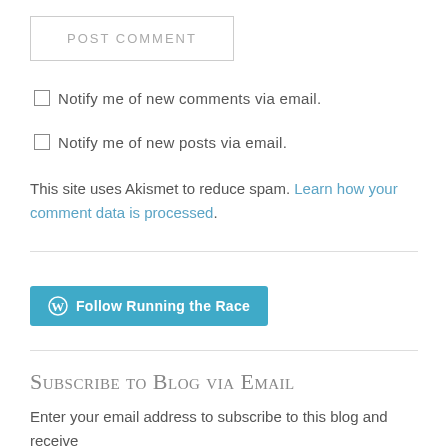POST COMMENT
Notify me of new comments via email.
Notify me of new posts via email.
This site uses Akismet to reduce spam. Learn how your comment data is processed.
[Figure (other): WordPress Follow button: Follow Running the Race]
Subscribe to Blog via Email
Enter your email address to subscribe to this blog and receive